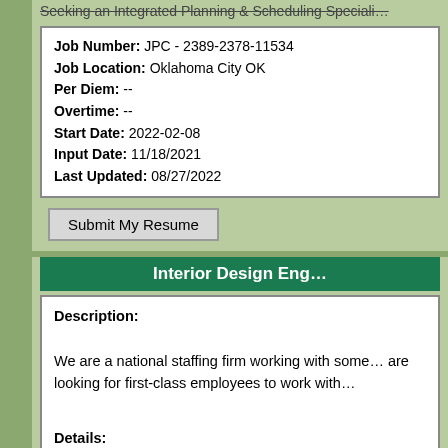Seeking an Integrated Planning & Scheduling Speciali...
Job Number: JPC - 2389-2378-11534
Job Location: Oklahoma City OK
Per Diem: --
Overtime: --
Start Date: 2022-02-08
Input Date: 11/18/2021
Last Updated: 08/27/2022
Submit My Resume
Interior Design Eng...
Description:

We are a national staffing firm working with some... are looking for first-class employees to work with...

Details:

Location: Greensboro, NC Contract 12 mos...
Job Number: JPC - 2716-2700-11534
Job Location: Greensboro NC